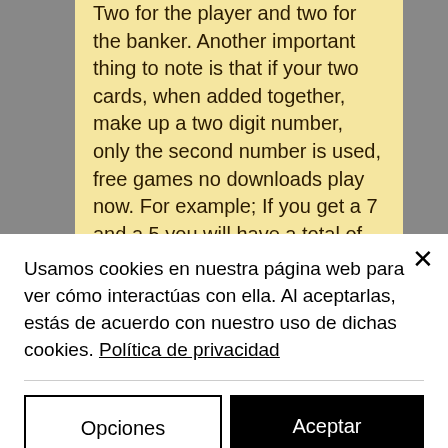Two for the player and two for the banker. Another important thing to note is that if your two cards, when added together, make up a two digit number, only the second number is used, free games no downloads play now. For example; If you get a 7 and a 5 you will have a total of 12, but since only the second digit is used in this case then your total score will be 2. A natural win is basically when someone scores an 8 or a 9 in the first round.
Slots : 512 description : teamspeak 3 non-profit license ==key== после надписи ==key== будет идти набор буков и цифр (ато и есть сам ключ). Слоты - это
Usamos cookies en nuestra página web para ver cómo interactúas con ella. Al aceptarlas, estás de acuerdo con nuestro uso de dichas cookies. Política de privacidad
Opciones
Aceptar